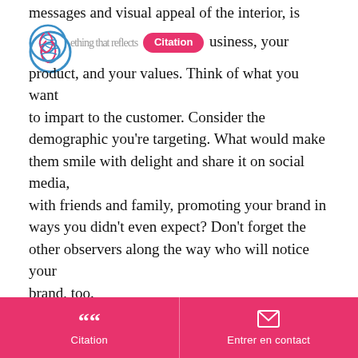messages and visual appeal of the interior, is something that reflects [Citation] business, your product, and your values. Think of what you want to impart to the customer. Consider the demographic you're targeting. What would make them smile with delight and share it on social media, with friends and family, promoting your brand in ways you didn't even expect? Don't forget the other observers along the way who will notice your brand, too.
If you need help coming up with ideas for designing your package, Arka is a great place to start. They guide you step by step in developing your presentation and have a variety of inspiring, eco-friendly boxes to choose from. Since 52% of
Citation | Entrer en contact